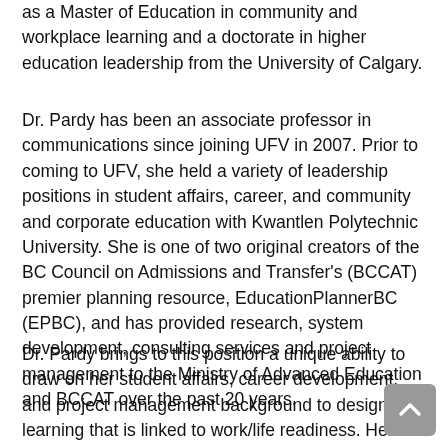as a Master of Education in community and workplace learning and a doctorate in higher education leadership from the University of Calgary.
Dr. Pardy has been an associate professor in communications since joining UFV in 2007. Prior to coming to UFV, she held a variety of leadership positions in student affairs, career, and community and corporate education with Kwantlen Polytechnic University. She is one of two original creators of the BC Council on Admissions and Transfer's (BCCAT) premier planning resource, EducationPlannerBC (EPBC), and has provided research, system development, consulting services and project management to the Ministry of Advanced Education and BCCAT over the past 20 years.
Dr. Pardy brings to this position a unique ability to draw on her student affairs, career development, and project management background to design learning that is linked to work/life readiness. Her work is focused on building